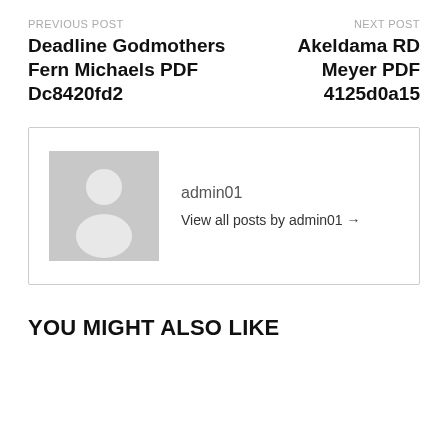PREVIOUS POST
NEXT POST
Deadline Godmothers Fern Michaels PDF Dc8420fd2
Akeldama RD Meyer PDF 4125d0a15
[Figure (illustration): Generic user avatar placeholder — grey square with white silhouette of a person (head and shoulders)]
admin01
View all posts by admin01 →
YOU MIGHT ALSO LIKE